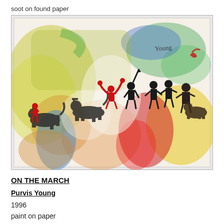soot on found paper
[Figure (photo): Abstract expressionist painting 'On The March' by Purvis Young (1996). Colorful painting on paper showing figures on horseback and marching figures rendered in loose, gestural black brushstrokes against a vivid background of yellow, green, blue, red, and orange washes. The composition moves from left to right with horses and riders, figures raising arms, and dynamic movement across the composition. The word 'Young' appears in cursive in the upper right area. The artwork is photographed against a white wall.]
ON THE MARCH
Purvis Young
1996
paint on paper